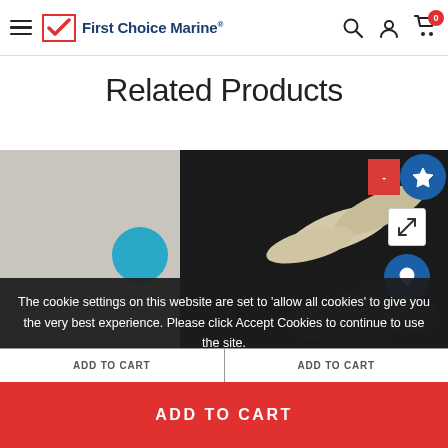First Choice Marine
Related Products
[Figure (photo): Product photo showing rope clamps or similar marine hardware items (beige/tan colored) on dark background]
The cookie settings on this website are set to 'allow all cookies' to give you the very best experience. Please click Accept Cookies to continue to use the site.
VIEW OUR PRIVACY POLICY   ACCEPT ✔
ADD TO CART   ADD TO CART
ADD TO CART